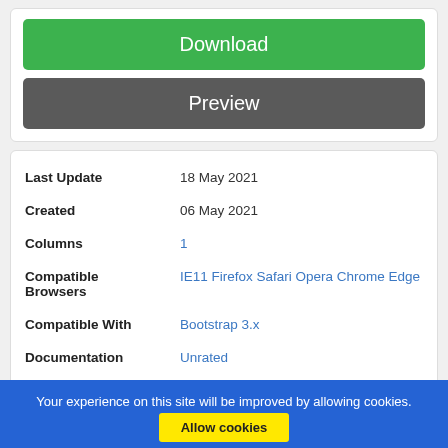Download
Preview
| Property | Value |
| --- | --- |
| Last Update | 18 May 2021 |
| Created | 06 May 2021 |
| Columns | 1 |
| Compatible Browsers | IE11 Firefox Safari Opera Chrome Edge |
| Compatible With | Bootstrap 3.x |
| Documentation | Unrated |
| High Resolution | Yes |
Your experience on this site will be improved by allowing cookies.
Allow cookies